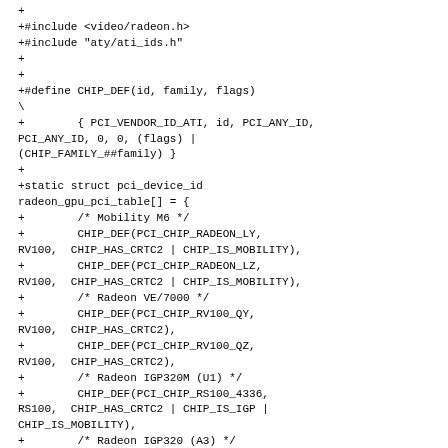+
+#include <video/radeon.h>
+#include "aty/ati_ids.h"
+
+
+#define CHIP_DEF(id, family, flags)	\
+	{ PCI_VENDOR_ID_ATI, id, PCI_ANY_ID, PCI_ANY_ID, 0, 0, (flags) | (CHIP_FAMILY_##family) }
+
+static struct pci_device_id radeon_gpu_pci_table[] = {
+	/* Mobility M6 */
+	CHIP_DEF(PCI_CHIP_RADEON_LY, RV100,	CHIP_HAS_CRTC2 | CHIP_IS_MOBILITY),
+	CHIP_DEF(PCI_CHIP_RADEON_LZ, RV100,	CHIP_HAS_CRTC2 | CHIP_IS_MOBILITY),
+	/* Radeon VE/7000 */
+	CHIP_DEF(PCI_CHIP_RV100_QY, RV100,	CHIP_HAS_CRTC2),
+	CHIP_DEF(PCI_CHIP_RV100_QZ, RV100,	CHIP_HAS_CRTC2),
+	/* Radeon IGP320M (U1) */
+	CHIP_DEF(PCI_CHIP_RS100_4336, RS100,	CHIP_HAS_CRTC2 | CHIP_IS_IGP | CHIP_IS_MOBILITY),
+	/* Radeon IGP320 (A3) */
+	CHIP_DEF(PCI_CHIP_RS100_4136, RS100,	CHIP_HAS_CRTC2 | CHIP_IS_IGP),